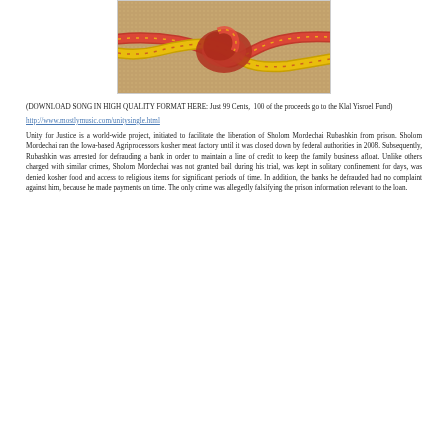[Figure (photo): Close-up photo of red and yellow braided ropes tied in a knot against a textured tan/beige background]
(DOWNLOAD SONG IN HIGH QUALITY FORMAT HERE: Just 99 Cents,  100 of the proceeds go to the Klal Yisroel Fund)
http://www.mostlymusic.com/unitysingle.html
Unity for Justice is a world-wide project, initiated to facilitate the liberation of Sholom Mordechai Rubashkin from prison. Sholom Mordechai ran the Iowa-based Agriprocessors kosher meat factory until it was closed down by federal authorities in 2008. Subsequently, Rubashkin was arrested for defrauding a bank in order to maintain a line of credit to keep the family business afloat. Unlike others charged with similar crimes, Sholom Mordechai was not granted bail during his trial, was kept in solitary confinement for days, was denied kosher food and access to religious items for significant periods of time. In addition, the banks he defrauded had no complaint against him, because he made payments on time. The only crime was allegedly falsifying the prison information relevant to the loan.